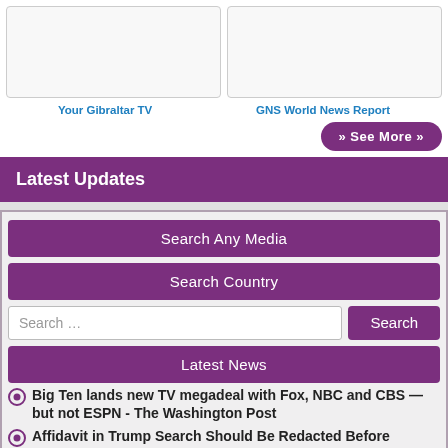[Figure (other): Two video thumbnail boxes side by side]
Your Gibraltar TV
GNS World News Report
» See More »
Latest Updates
Search Any Media
Search Country
Search ...
Search
Latest News
Big Ten lands new TV megadeal with Fox, NBC and CBS — but not ESPN - The Washington Post
Affidavit in Trump Search Should Be Redacted Before Possible Unsealing, Judge Says - The New York Times
High-level talks in Ukraine yield little reported progress - The Associated Press